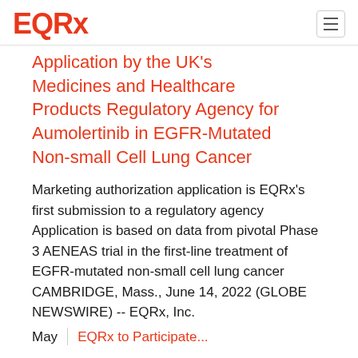EQRx
Application by the UK's Medicines and Healthcare Products Regulatory Agency for Aumolertinib in EGFR-Mutated Non-small Cell Lung Cancer
Marketing authorization application is EQRx's first submission to a regulatory agency Application is based on data from pivotal Phase 3 AENEAS trial in the first-line treatment of EGFR-mutated non-small cell lung cancer CAMBRIDGE, Mass., June 14, 2022 (GLOBE NEWSWIRE) -- EQRx, Inc.
May